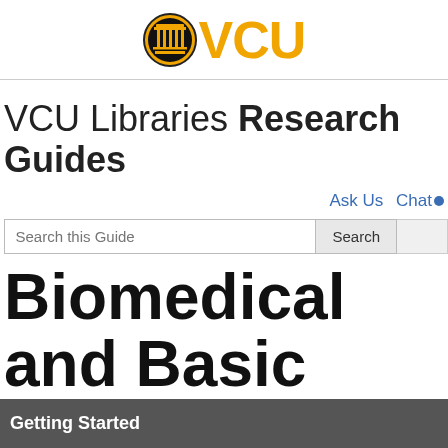[Figure (logo): VCU logo with black circle icon containing columns and golden VCU text]
VCU Libraries Research Guides
Ask Us  Chat
Search this Guide  Search
Biomedical and Basic Sciences Research
Curated resources for students, faculty, and staff engaged in basic sciences and biomedical sciences education and research
Getting Started